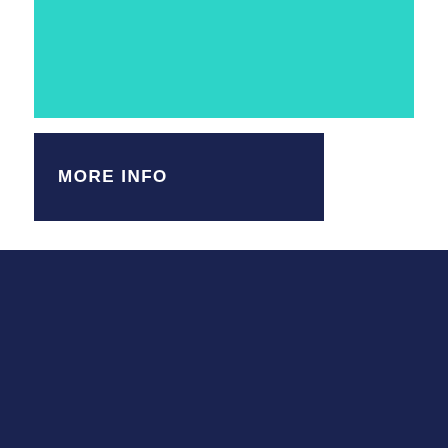[Figure (other): Teal/turquoise colored rectangular banner bar at the top of the page]
MORE INFO
[Figure (other): Dark navy blue rectangle covering the bottom portion of the page]